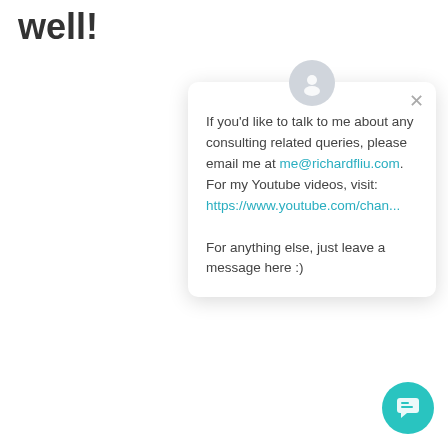well!
If you'd like to talk to me about any consulting related queries, please email me at me@richardfliu.com. For my Youtube videos, visit: https://www.youtube.com/chan...

For anything else, just leave a message here :)